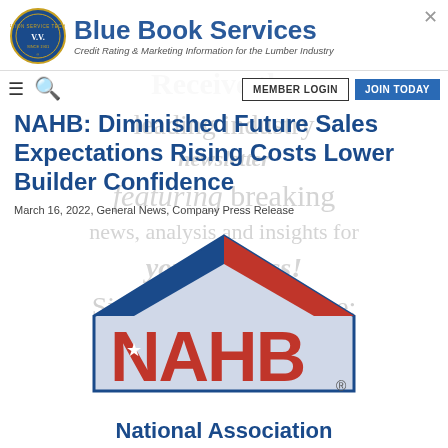[Figure (logo): Blue Book Services logo with circular seal emblem on the left and company name and tagline on the right]
[Figure (screenshot): Navigation bar with hamburger menu, search icon, MEMBER LOGIN button, and JOIN TODAY button]
[Figure (infographic): Background overlay text promoting newsletter signup: 'Receive the leading industry newsletter featuring breaking news, analysis and insights for your success! Sign Up For Free Here: Yes, I Want It! No, I Already Get It.']
NAHB: Diminished Future Sales Expectations Rising Costs Lower Builder Confidence
March 16, 2022, General News, Company Press Release
[Figure (logo): NAHB (National Association of Home Builders) logo showing a house outline with blue and red elements and the NAHB acronym in red letters with a star]
National Association